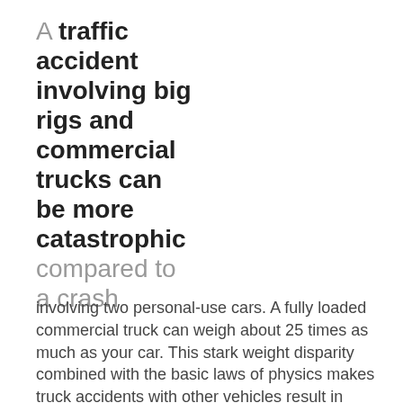A traffic accident involving big rigs and commercial trucks can be more catastrophic compared to a crash involving two personal-use cars. A fully loaded commercial truck can weigh about 25 times as much as your car. This stark weight disparity combined with the basic laws of physics makes truck accidents with other vehicles result in severe and even fatal injuries. These accidents are also associated with significant property damage. The risk is greater if the truck is carrying dangerous materials or hazardous chemicals.